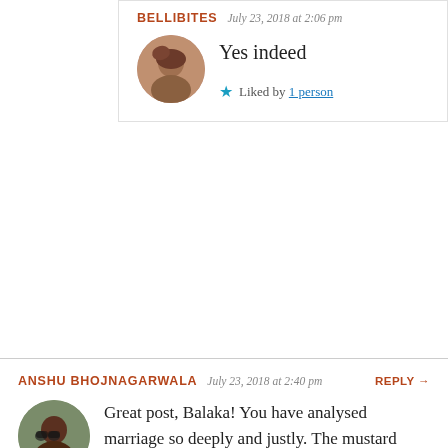BELLIBITES  July 23, 2018 at 2:06 pm
Yes indeed
Liked by 1 person
ANSHU BHOJNAGARWALA  July 23, 2018 at 2:40 pm  REPLY →
Great post, Balaka! You have analysed marriage so deeply and justly. The mustard fields, hugs and kisses brainwashed our minds when we were teenagers, I think today's kids are smarter than us. Anyway, they would have all experienced this before they are ready for marriage. So they would know marriage is not just holding hands, cuddling and sex, and romance doesn't even come into the picture